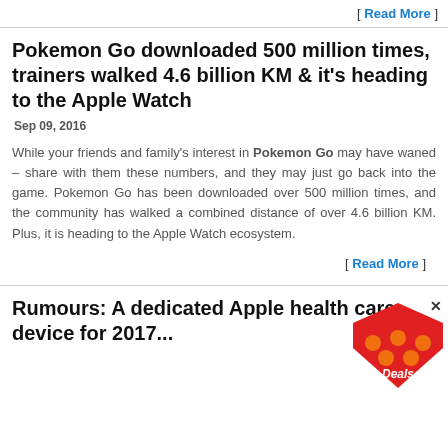[ Read More ]
Pokemon Go downloaded 500 million times, trainers walked 4.6 billion KM & it's heading to the Apple Watch
Sep 09, 2016
While your friends and family's interest in Pokemon Go may have waned – share with them these numbers, and they may just go back into the game. Pokemon Go has been downloaded over 500 million times, and the community has walked a combined distance of over 4.6 billion KM. Plus, it is heading to the Apple Watch ecosystem.
[ Read More ]
Rumours: A dedicated Apple health care device for 2017...